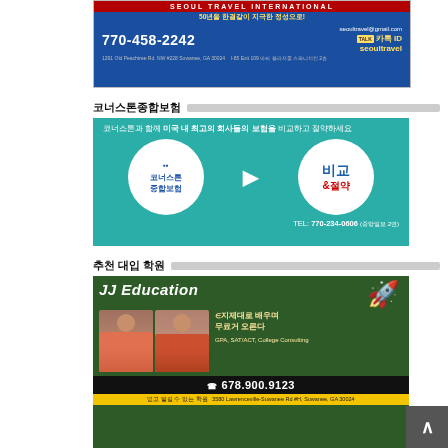[Figure (illustration): Seoul Travel International advertisement banner with phone 770-458-2242, email seoultravel@gmail.com, KakaoTalk ID seoultravel, address 1291 Old Peachtree Rd. NW #228 Suwanee GA 30024]
코너스톤종합보험
[Figure (illustration): Cornerstone comprehensive insurance advertisement in teal/blue background. Text: 코너스톤과 함께 미국 내 최고의 회사들의 보험을 비교하고 절약하세요. Two white circles: 코너스톤 중합보험 and 비교 & 절약. TEL: 770-234-0606 (중앙일보 2면)]
추천 대입 학원
[Figure (illustration): JJ Education advertisement on green background. Shows two women's photos, rocket illustration, text: 지제대로 배우며 무료거 오른다. GPA, SAT/ACT, College Consulting. Phone: 678.900.9123. Address: 3580 Lawrenceville-Suwanee Rd #H, Suwanee GA 30024]